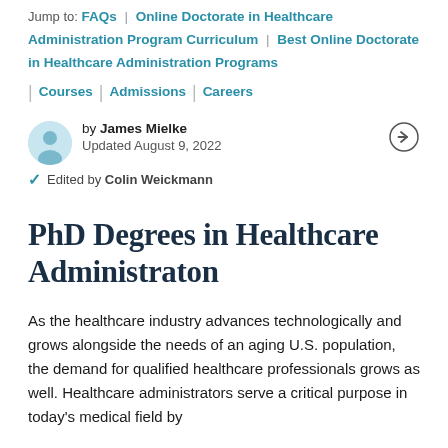Jump to: FAQs | Online Doctorate in Healthcare Administration Program Curriculum | Best Online Doctorate in Healthcare Administration Programs | Courses | Admissions | Careers
by James Mielke
Updated August 9, 2022
Edited by Colin Weickmann
PhD Degrees in Healthcare Administraton
As the healthcare industry advances technologically and grows alongside the needs of an aging U.S. population, the demand for qualified healthcare professionals grows as well. Healthcare administrators serve a critical purpose in today's medical field by